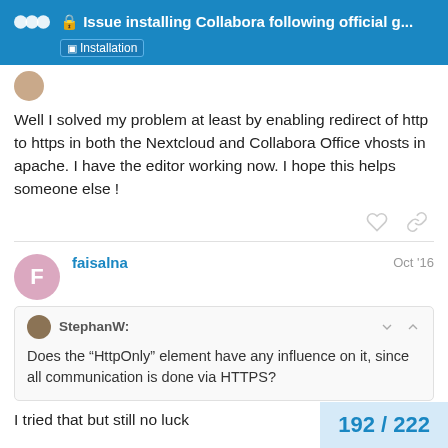Issue installing Collabora following official g... — Installation
Well I solved my problem at least by enabling redirect of http to https in both the Nextcloud and Collabora Office vhosts in apache. I have the editor working now. I hope this helps someone else !
faisalna — Oct '16
StephanW: Does the “HttpOnly” element have any influence on it, since all communication is done via HTTPS?
I tried that but still no luck
192 / 222